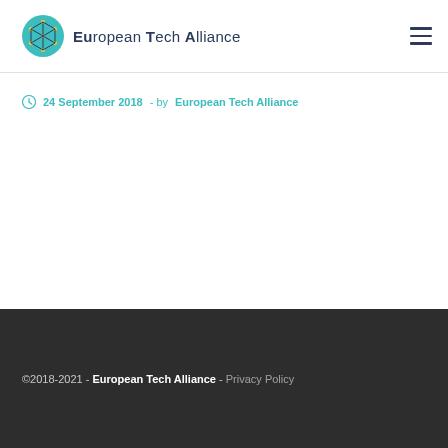European Tech Alliance
24 September 2018 - by European Tech Alliance
©2018-2021 - European Tech Alliance - Privacy Policy